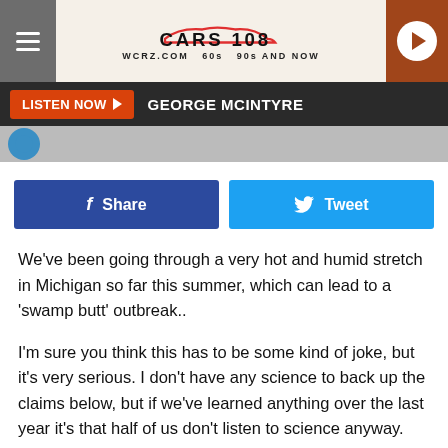[Figure (logo): Cars 108 radio station logo with car silhouette graphic and tagline WCRZ.COM 60s 90s AND NOW]
LISTEN NOW  GEORGE MCINTYRE
[Figure (infographic): Social share buttons: Facebook Share and Twitter Tweet]
We've been going through a very hot and humid stretch in Michigan so far this summer, which can lead to a 'swamp butt' outbreak..
I'm sure you think this has to be some kind of joke, but it's very serious. I don't have any science to back up the claims below, but if we've learned anything over the last year it's that half of us don't listen to science anyway. Science or no science, anyone that has lived through a hot and humid Michigan summer knows exactly what swamp butt is, and the dangers it can pose.